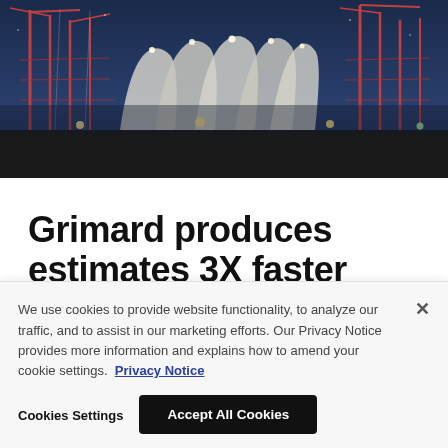[Figure (photo): Night-time aerial photo of a large construction site with cranes, scaffolding, and illuminated structural frames under a dark blue sky.]
Grimard produces estimates 3X faster with Procore.
[Figure (infographic): Social media share icons: LinkedIn (in), Facebook (f), Twitter (bird icon)]
We use cookies to provide website functionality, to analyze our traffic, and to assist in our marketing efforts. Our Privacy Notice provides more information and explains how to amend your cookie settings. Privacy Notice
Cookies Settings
Accept All Cookies